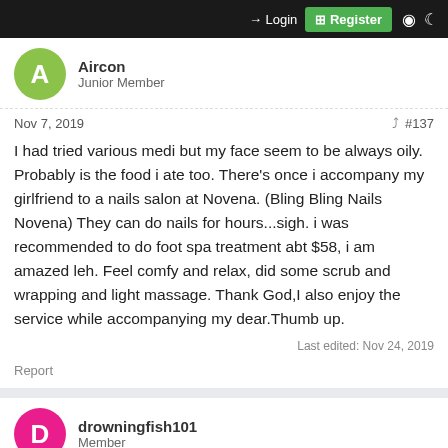→ Login  ⊞ Register
Aircon
Junior Member
Nov 7, 2019  #137
I had tried various medi but my face seem to be always oily. Probably is the food i ate too. There's once i accompany my girlfriend to a nails salon at Novena. (Bling Bling Nails Novena) They can do nails for hours...sigh. i was recommended to do foot spa treatment abt $58, i am amazed leh. Feel comfy and relax, did some scrub and wrapping and light massage. Thank God,I also enjoy the service while accompanying my dear.Thumb up.
Last edited: Nov 24, 2019
Report
drowningfish101
Member